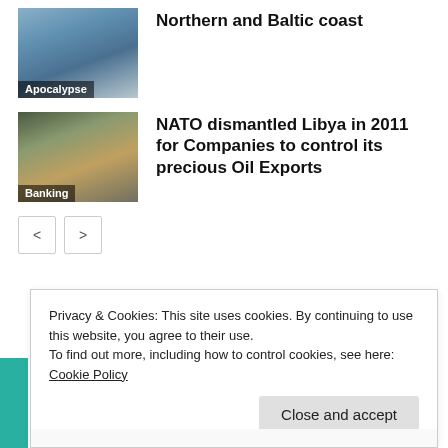[Figure (photo): Thumbnail image of ships/flags on northern coast with label 'Apocalypse']
Northern and Baltic coast
[Figure (photo): Thumbnail portrait photo of Muammar Gaddafi with label 'Banking']
NATO dismantled Libya in 2011 for Companies to control its precious Oil Exports
< >
Privacy & Cookies: This site uses cookies. By continuing to use this website, you agree to their use.
To find out more, including how to control cookies, see here: Cookie Policy
Close and accept